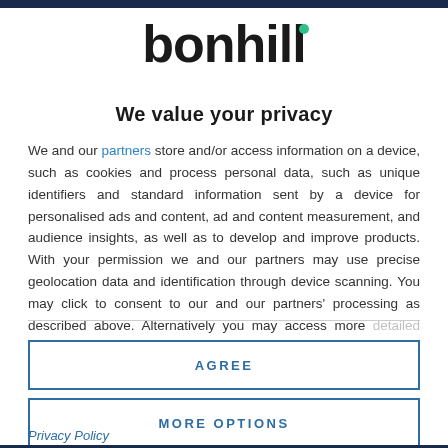[Figure (logo): Bonhill logo with teal dot accent above the letter i]
We value your privacy
We and our partners store and/or access information on a device, such as cookies and process personal data, such as unique identifiers and standard information sent by a device for personalised ads and content, ad and content measurement, and audience insights, as well as to develop and improve products. With your permission we and our partners may use precise geolocation data and identification through device scanning. You may click to consent to our and our partners' processing as described above. Alternatively you may access more detailed information and change your preferences before consenting
AGREE
MORE OPTIONS
Privacy Policy